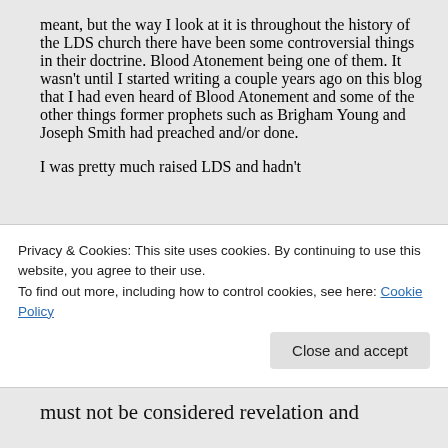meant, but the way I look at it is throughout the history of the LDS church there have been some controversial things in their doctrine. Blood Atonement being one of them. It wasn't until I started writing a couple years ago on this blog that I had even heard of Blood Atonement and some of the other things former prophets such as Brigham Young and Joseph Smith had preached and/or done.
I was pretty much raised LDS and hadn't
Privacy & Cookies: This site uses cookies. By continuing to use this website, you agree to their use.
To find out more, including how to control cookies, see here: Cookie Policy
must not be considered revelation and